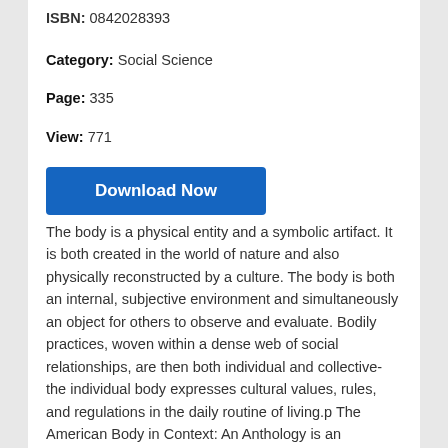ISBN: 0842028393
Category: Social Science
Page: 335
View: 771
[Figure (other): Blue 'Download Now' button]
The body is a physical entity and a symbolic artifact. It is both created in the world of nature and also physically reconstructed by a culture. The body is both an internal, subjective environment and simultaneously an object for others to observe and evaluate. Bodily practices, woven within a dense web of social relationships, are then both individual and collective- the individual body expresses cultural values, rules, and regulations in the daily routine of living.p The American Body in Context: An Anthology is an interdisciplinary investigation of these body relationships, examining the American historical and contemporary constructions of the body. Through